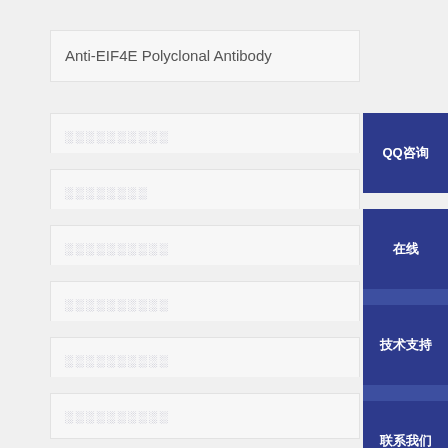Anti-EIF4E Polyclonal Antibody
░░░░░░░░░░
░░░░░░░░
░░░░░░░░░░
░░░░░░░░░░
░░░░░░░░░░
░░░░░░░░░░
QQ咨询
在线
技术支持
联系我们